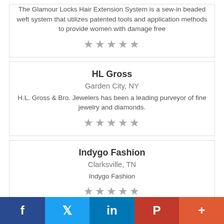The Glamour Locks Hair Extension System is a sew-in beaded weft system that utilizes patented tools and application methods to provide women with damage free
★★★★★
HL Gross
Garden City, NY
H.L. Gross & Bro. Jewelers has been a leading purveyor of fine jewelry and diamonds.
★★★★★
Indygo Fashion
Clarksville, TN
Indygo Fashion
★★★★★
f  🐦  in  P  +